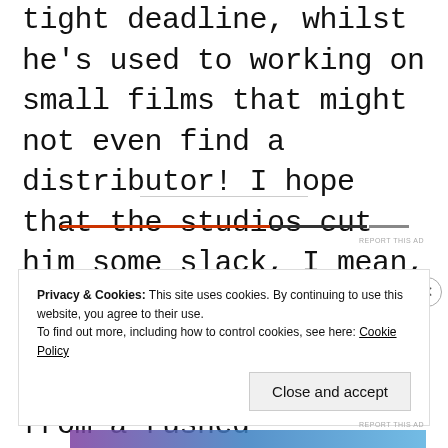tight deadline, whilst he's used to working on small films that might not even find a distributor! I hope that the studios cut him some slack, I mean, I'd rather wait a few more months if need be than seeing this suffer from a rushed production.
Privacy & Cookies: This site uses cookies. By continuing to use this website, you agree to their use.
To find out more, including how to control cookies, see here: Cookie Policy
Close and accept